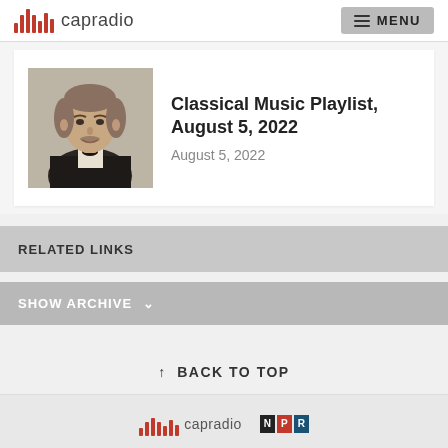capradio MENU
[Figure (photo): Black and white portrait photograph of a 19th century man in formal attire]
Classical Music Playlist, August 5, 2022
August 5, 2022
RELATED LINKS
SHOW ARCHIVE
↑ BACK TO TOP
[Figure (logo): CapRadio logo and NPR logo in footer]